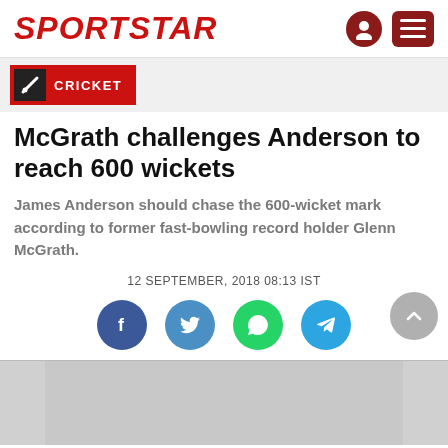SPORTSTAR
CRICKET
McGrath challenges Anderson to reach 600 wickets
James Anderson should chase the 600-wicket mark according to former fast-bowling record holder Glenn McGrath.
12 SEPTEMBER, 2018 08:13 IST
[Figure (screenshot): Social sharing buttons: Facebook, Twitter, WhatsApp, Telegram]
[Figure (photo): Article image partially visible at bottom of page]